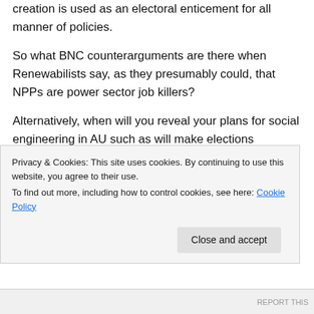After all, you will be aware within AS of how job creation is used as an electoral enticement for all manner of policies.
So what BNC counterarguments are there when Renewabilists say, as they presumably could, that NPPs are power sector job killers?
Alternatively, when will you reveal your plans for social engineering in AU such as will make elections superfluous?
★ Like
Privacy & Cookies: This site uses cookies. By continuing to use this website, you agree to their use.
To find out more, including how to control cookies, see here: Cookie Policy
Close and accept